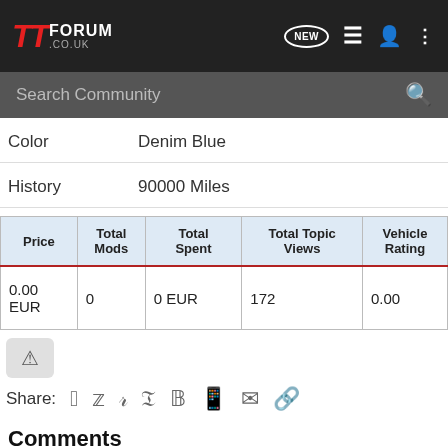TT FORUM .CO.UK
Color   Denim Blue
History   90000 Miles
| Price | Total Mods | Total Spent | Total Topic Views | Vehicle Rating |
| --- | --- | --- | --- | --- |
| 0.00 EUR | 0 | 0 EUR | 172 | 0.00 |
Share:
Comments